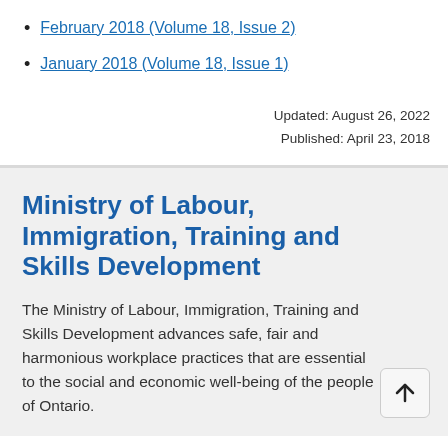February 2018 (Volume 18, Issue 2)
January 2018 (Volume 18, Issue 1)
Updated: August 26, 2022
Published: April 23, 2018
Ministry of Labour, Immigration, Training and Skills Development
The Ministry of Labour, Immigration, Training and Skills Development advances safe, fair and harmonious workplace practices that are essential to the social and economic well-being of the people of Ontario.